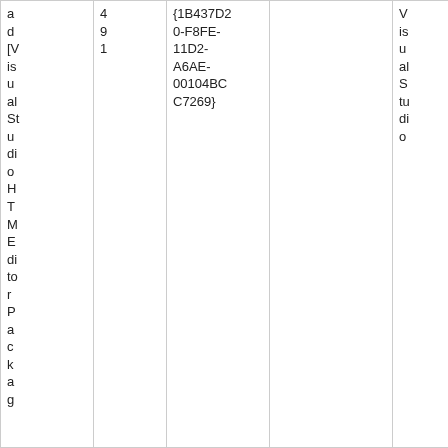| a
d
[Visual Studio HTML editor Package] | 491 | {1B437D20-F8FE-11D2-A6AE-00104BCC7269} | Visual Studio | 7/07/03 17:34:47.162 |